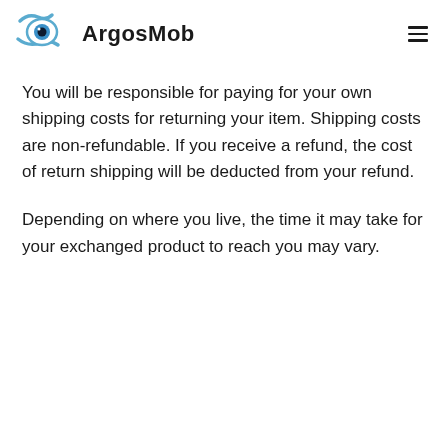ArgosMob
You will be responsible for paying for your own shipping costs for returning your item. Shipping costs are non-refundable. If you receive a refund, the cost of return shipping will be deducted from your refund.
Depending on where you live, the time it may take for your exchanged product to reach you may vary.